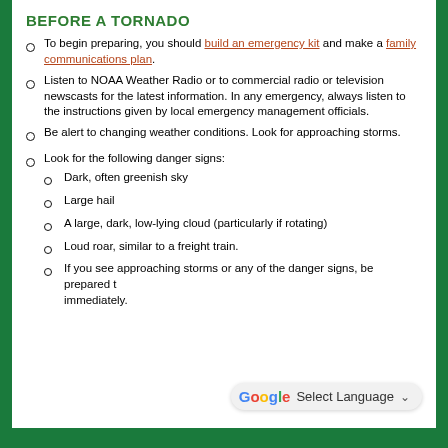BEFORE A TORNADO
To begin preparing, you should build an emergency kit and make a family communications plan.
Listen to NOAA Weather Radio or to commercial radio or television newscasts for the latest information. In any emergency, always listen to the instructions given by local emergency management officials.
Be alert to changing weather conditions. Look for approaching storms.
Look for the following danger signs:
Dark, often greenish sky
Large hail
A large, dark, low-lying cloud (particularly if rotating)
Loud roar, similar to a freight train.
If you see approaching storms or any of the danger signs, be prepared to act immediately.